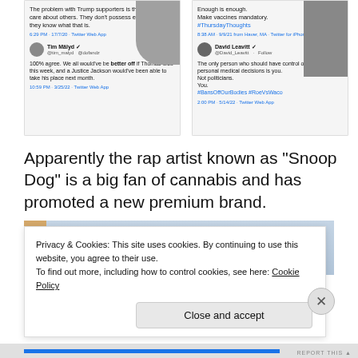[Figure (screenshot): Two Twitter/social media post screenshots side by side. Left: A tweet saying 'The problem with Trump supporters is that they don't care about others. They don't possess empathy nor do they know what that is.' with a reply from Tim Mälyd saying '100% agree. We all would've be better off if Thomas died this week, and a Justice Jackson would've been able to take his place next month.' Right: A tweet with 'Enough is enough. Make vaccines mandatory. #ThursdayThoughts' and a reply from David Leavitt saying 'The only person who should have control over your personal medical decisions is you. Not politicians. You. #BansOffOurBodies #RoeVsWaco']
Apparently the rap artist known as “Snoop Dog” is a big fan of cannabis and has promoted a new premium brand.
[Figure (photo): Image showing text 'PREMIUM CANNABIS' with red horizontal lines beneath each word, and a finger visible at the left edge.]
Privacy & Cookies: This site uses cookies. By continuing to use this website, you agree to their use.
To find out more, including how to control cookies, see here: Cookie Policy
Close and accept